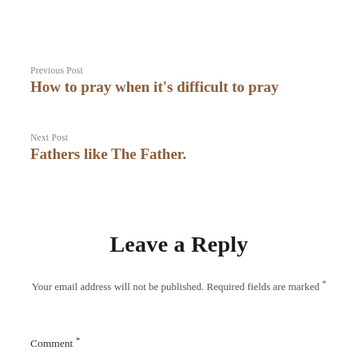Previous Post
How to pray when it’s difficult to pray
Next Post
Fathers like The Father.
Leave a Reply
Your email address will not be published. Required fields are marked *
Comment *